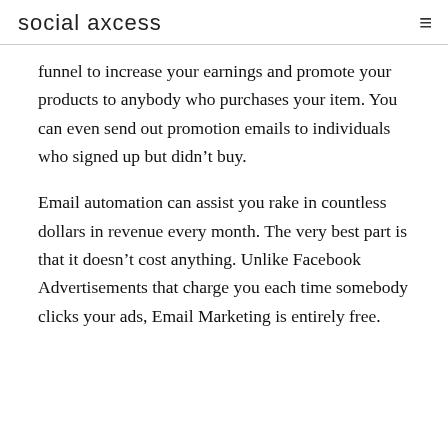social axcess
funnel to increase your earnings and promote your products to anybody who purchases your item. You can even send out promotion emails to individuals who signed up but didn’t buy.
Email automation can assist you rake in countless dollars in revenue every month. The very best part is that it doesn’t cost anything. Unlike Facebook Advertisements that charge you each time somebody clicks your ads, Email Marketing is entirely free.